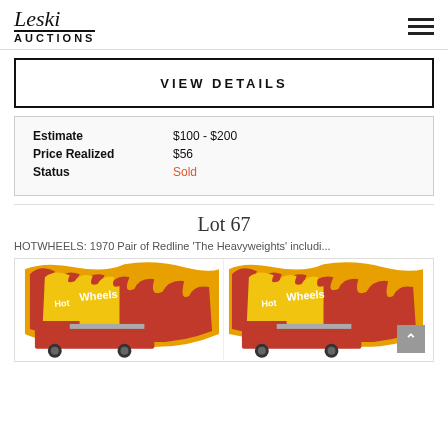Leski Auctions
VIEW DETAILS
| Field | Value |
| --- | --- |
| Estimate | $100 - $200 |
| Price Realized | $56 |
| Status | Sold |
Lot 67
HOTWHEELS: 1970 Pair of Redline 'The Heavyweights' includi...
[Figure (photo): Two Hot Wheels Redline 'The Heavyweights' toy car packages featuring the Hot Wheels logo with flames on yellow and red packaging, showing fire trucks.]